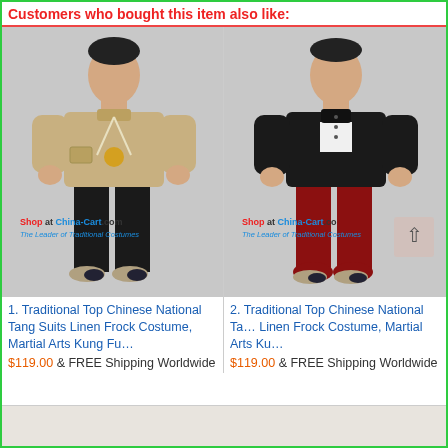Customers who bought this item also like:
[Figure (photo): Man wearing beige/khaki Chinese Tang suit jacket with black pants and traditional shoes, watermark reads 'Shop at China-Cart.com The Leader of Traditional Costumes']
[Figure (photo): Man wearing black Chinese Tang suit jacket with red pants and traditional shoes, watermark reads 'Shop at China-Cart.com The Leader of Traditional Costumes']
1. Traditional Top Chinese National Tang Suits Linen Frock Costume, Martial Arts Kung Fu…
$119.00 & FREE Shipping Worldwide
2. Traditional Top Chinese National Tang Suits Linen Frock Costume, Martial Arts Ku…
$119.00 & FREE Shipping Worldwide